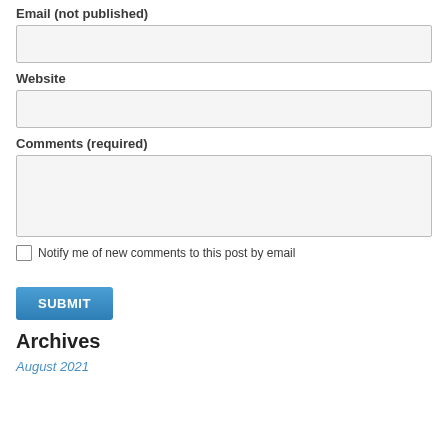Email (not published)
[Figure (screenshot): Text input field for Email]
Website
[Figure (screenshot): Text input field for Website]
Comments (required)
[Figure (screenshot): Textarea input field for Comments]
Notify me of new comments to this post by email
[Figure (screenshot): Submit button]
Archives
August 2021